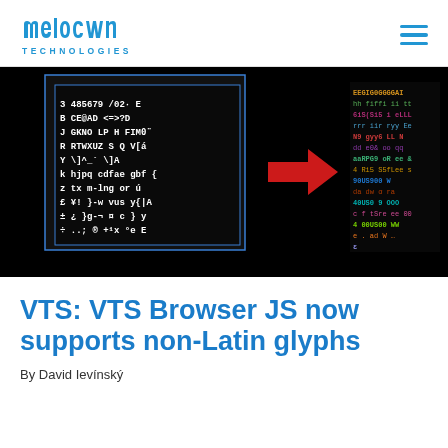meloown TECHNOLOGIES
[Figure (screenshot): Screenshot showing a font/glyph atlas on the left (white characters on black background with various Latin and special characters) with a red arrow pointing right to a colorful pixel-rendered glyph output on the right (RGB sub-pixel rendering of characters)]
VTS: VTS Browser JS now supports non-Latin glyphs
By David Ievínský